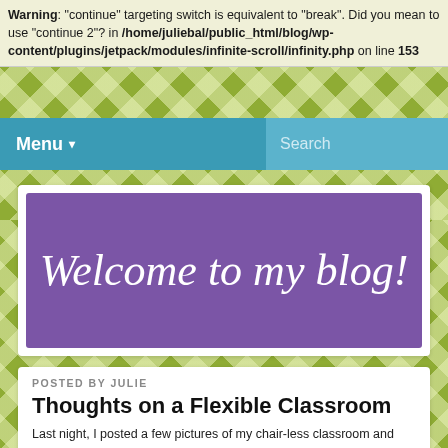Warning: "continue" targeting switch is equivalent to "break". Did you mean to use "continue 2"? in /home/juliebal/public_html/blog/wp-content/plugins/jetpack/modules/infinite-scroll/infinity.php on line 153
Menu ▾   Search
[Figure (illustration): Purple banner with cursive white text reading 'Welcome to my blog!']
POSTED BY JULIE
Thoughts on a Flexible Classroom
Last night, I posted a few pictures of my chair-less classroom and had lots of questions about my setup. In response, this is a post about flexible classrooms, particularly flexible seating. I say that up front because I want to back up a bit so that you know where I'm coming from, but I promise I'll get there. Bear with me, will you?